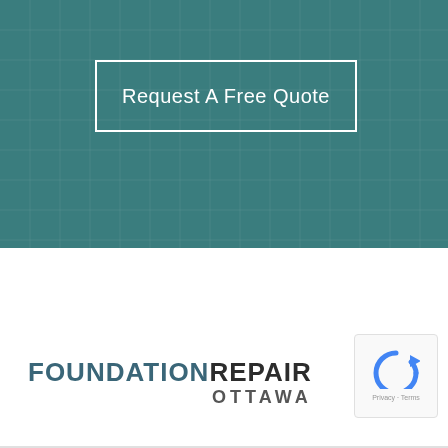[Figure (screenshot): Teal/dark cyan background section with a subtle grid pattern overlay, containing a white-bordered button]
Request A Free Quote
[Figure (logo): Foundation Repair Ottawa company logo in dark teal and dark grey text]
[Figure (other): Google reCAPTCHA widget showing circular arrow logo with Privacy and Terms links]